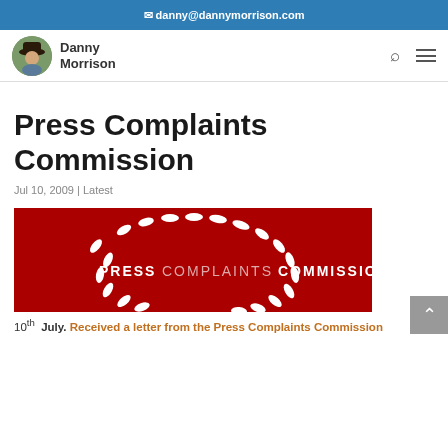danny@dannymorrison.com
[Figure (logo): Danny Morrison website logo with circular portrait photo and site name]
Press Complaints Commission
Jul 10, 2009 | Latest
[Figure (photo): Press Complaints Commission logo — white oval dots arranged in a circle on a dark red background, with the text 'PRESS COMPLAINTS COMMISSION']
10th July. Received a letter from the Press Complaints Commission